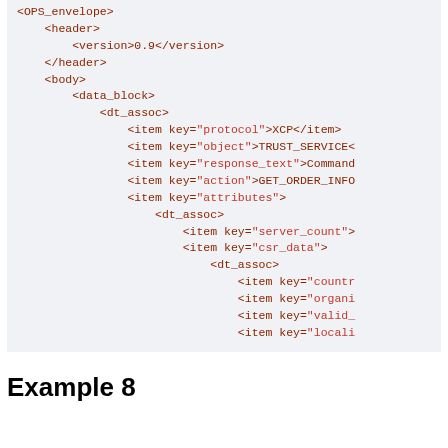<OPS_envelope>
    <header>
        <version>0.9</version>
    </header>
    <body>
        <data_block>
            <dt_assoc>
                <item key="protocol">XCP</item>
                <item key="object">TRUST_SERVICE<
                <item key="response_text">Command
                <item key="action">GET_ORDER_INFO
                <item key="attributes">
                    <dt_assoc>
                        <item key="server_count">
                        <item key="csr_data">
                            <dt_assoc>
                                <item key="countr
                                <item key="organi
                                <item key="valid_
                                <item key="locali
Example 8